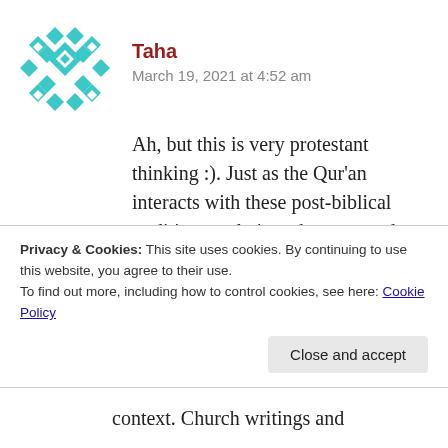[Figure (illustration): Teal/turquoise geometric diamond pattern avatar icon]
Taha
March 19, 2021 at 4:52 am
Ah, but this is very protestant thinking :). Just as the Qur’an interacts with these post-biblical traditions and gives them some due, so to did the Jewish and Christian audiences take these texts and traditions very seriously. Think about
Privacy & Cookies: This site uses cookies. By continuing to use this website, you agree to their use.
To find out more, including how to control cookies, see here: Cookie Policy
Close and accept
context. Church writings and